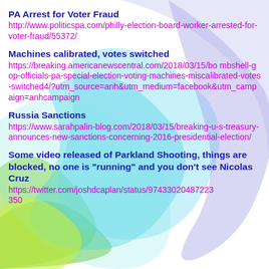PA Arrest for Voter Fraud
http://www.politicspa.com/philly-election-board-worker-arrested-for-voter-fraud/55372/
Machines calibrated, votes switched
https://breaking.americanewscentral.com/2018/03/15/bombshell-gop-officials-pa-special-election-voting-machines-miscalibrated-votes-switched4/?utm_source=anh&utm_medium=facebook&utm_campaign=anhcampaign
Russia Sanctions
https://www.sarahpalin-blog.com/2018/03/15/breaking-u-s-treasury-announces-new-sanctions-concerning-2016-presidential-election/
Some video released of Parkland Shooting,  things are blocked, no one is "running" and you don't see Nicolas Cruz
https://twitter.com/joshdcaplan/status/974330204872237350